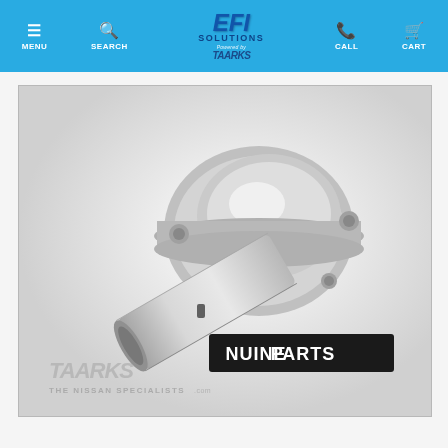MENU | SEARCH | EFI SOLUTIONS Powered by TAARKS | CALL | CART
[Figure (photo): A silver metal thermostat housing / coolant outlet pipe component photographed on a white background with a 'GENUINE PARTS' label visible and a TAARKS - The Nissan Specialists watermark overlay at the bottom left.]